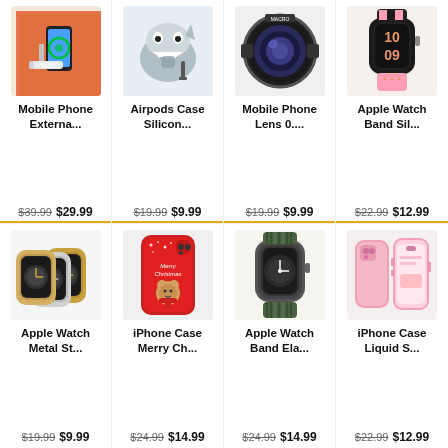[Figure (photo): Mobile phone on external battery charger/stand with orange background]
Mobile Phone Externa...
$39.99 $29.99
[Figure (photo): Shark-shaped AirPods case silicone cover]
Airpods Case Silicon...
$19.99 $9.99
[Figure (photo): Mobile phone camera lens attachment, professional wide angle lens]
Mobile Phone Lens 0....
$19.99 $9.99
[Figure (photo): Apple Watch band in black and pink silicone sport style]
Apple Watch Band Sil...
$22.99 $12.99
[Figure (photo): Apple Watch metal strap bands in silver and gold]
Apple Watch Metal St...
$19.99 $9.99
[Figure (photo): iPhone case with red Merry Christmas design with bear]
iPhone Case Merry Ch...
$24.99 $14.99
[Figure (photo): Apple Watch elastic braided solo loop band in olive green]
Apple Watch Band Ela...
$24.99 $14.99
[Figure (photo): iPhone case in liquid silicone pink color, two phone views]
iPhone Case Liquid S...
$22.99 $12.99